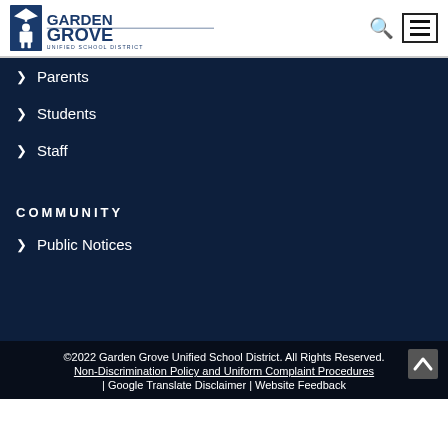[Figure (logo): Garden Grove Unified School District logo with graduation figure and text]
Parents
Students
Staff
COMMUNITY
Public Notices
©2022 Garden Grove Unified School District. All Rights Reserved.
Non-Discrimination Policy and Uniform Complaint Procedures | Google Translate Disclaimer | Website Feedback